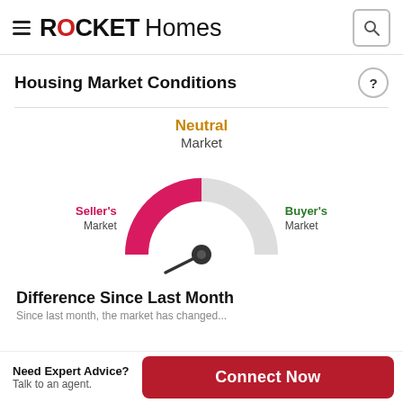ROCKET Homes
Housing Market Conditions
[Figure (other): Gauge/speedometer chart showing Neutral Market. The gauge has a pink/crimson arc on the left (Seller's Market) and a light gray arc on the right (Buyer's Market). The needle points to the left-center area indicating a Neutral Market leaning toward Seller's. Labels: Seller's Market (left, pink), Buyer's Market (right, green), Neutral Market (top center, orange).]
Difference Since Last Month
Since last month, the market has changed...
Need Expert Advice? Talk to an agent.
Connect Now